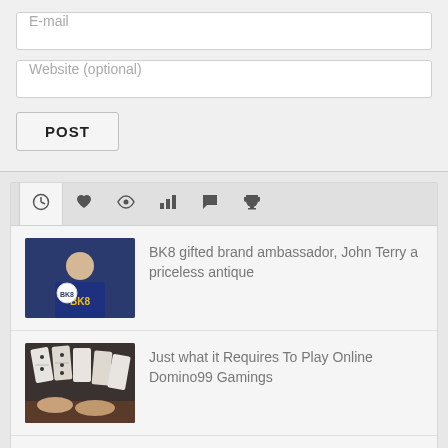E-mail
Website (optional)
POST
[Figure (screenshot): Widget tab bar with icons: clock, heart, eye, bar chart, speech bubble, trophy]
[Figure (photo): Person in BK8 jersey holding a ball]
BK8 gifted brand ambassador, John Terry a priceless antique
[Figure (photo): Domino tiles stacked on a table]
Just what it Requires To Play Online Domino99 Gamings
[Figure (photo): Partial red thumbnail at bottom]